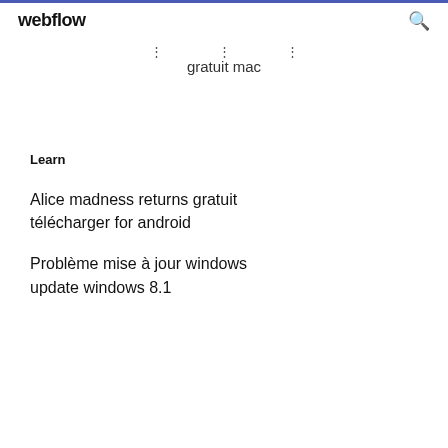webflow
gratuit mac
Learn
Alice madness returns gratuit télécharger for android
Problème mise à jour windows update windows 8.1